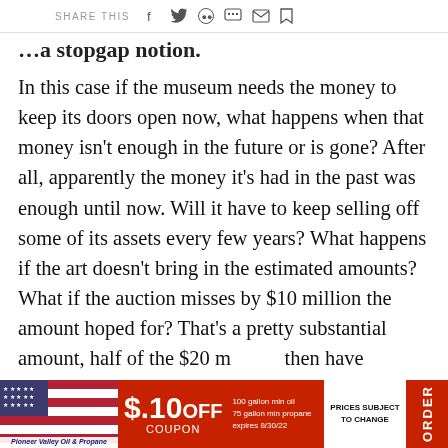SHARE THIS
…a stopgap notion.
In this case if the museum needs the money to keep its doors open now, what happens when that money isn't enough in the future or is gone? After all, apparently the money it's had in the past was enough until now. Will it have to keep selling off some of its assets every few years? What happens if the art doesn't bring in the estimated amounts? What if the auction misses by $10 million the amount hoped for? That's a pretty substantial amount, half of the $20 m[...] then have a[...]fall?
[Figure (advertisement): Pioneer Valley Oil & Propane advertisement with American flag, $.10 OFF coupon, 100 gallon min oil, 75 gallon min propane, expires 8/30/22, PRICES SUBJECT TO CHANGE, ORDER button]